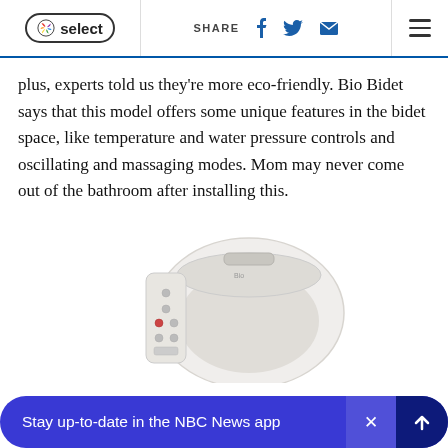NBC Select — SHARE [social icons] [hamburger menu]
plus, experts told us they're more eco-friendly. Bio Bidet says that this model offers some unique features in the bidet space, like temperature and water pressure controls and oscillating and massaging modes. Mom may never come out of the bathroom after installing this.
[Figure (photo): A white bidet toilet seat/attachment with a side control panel featuring multiple buttons, viewed from above at an angle showing the lid and controls.]
Stay up-to-date in the NBC News app